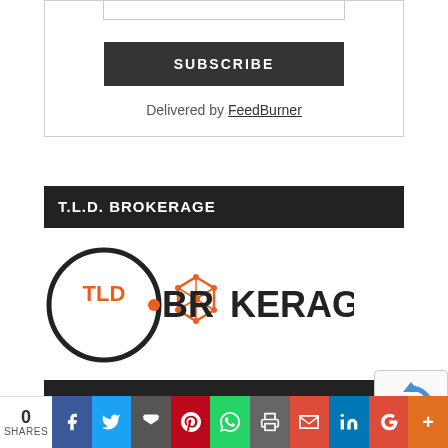[Figure (other): Subscribe form with input field and dark SUBSCRIBE button, and 'Delivered by FeedBurner' text below]
T.L.D. BROKERAGE
[Figure (logo): TLD Brokerage logo with circular TLD emblem and orange/dark text BROKERAGE]
DOMAIN RESELLER
[Figure (other): reCAPTCHA badge]
0 SHARES | Share buttons: Facebook, Twitter, Email, Pinterest, WhatsApp, Print, Gmail, LinkedIn, Google+, More